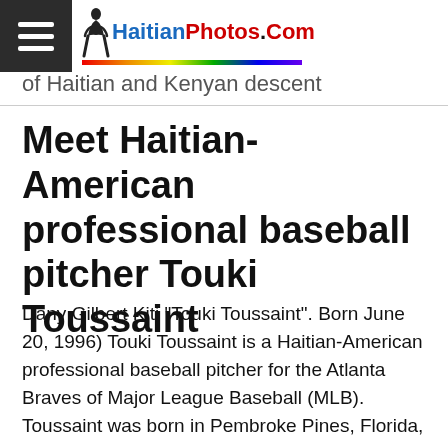HaitianPhotos.Com
of Haitian and Kenyan descent
Meet Haitian-American professional baseball pitcher Touki Toussaint
Dany Gilbert Kiti "Touki Toussaint". Born June 20, 1996) Touki Toussaint is a Haitian-American professional baseball pitcher for the Atlanta Braves of Major League Baseball (MLB). Toussaint was born in Pembroke Pines, Florida, to Dany Toussaint and Kahaso Kiti. He is of Haitian and Kenyan descent.